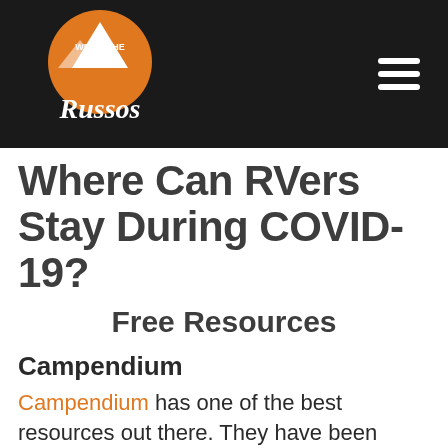We're The Russos — navigation header with logo and hamburger menu
Where Can RVers Stay During COVID-19?
Free Resources
Campendium
Campendium has one of the best resources out there. They have been making updates to their site daily as policies change and as parks make decisions about their opening status. You can find lists by category (National Parks